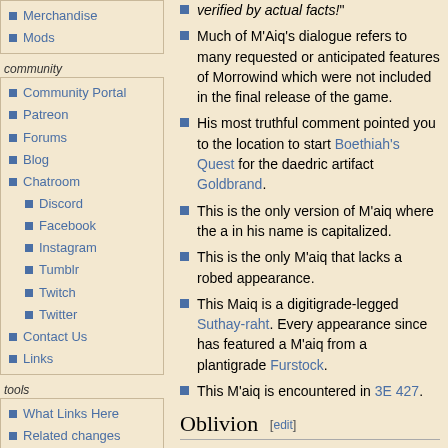Merchandise
Mods
community
Community Portal
Patreon
Forums
Blog
Chatroom
Discord
Facebook
Instagram
Tumblr
Twitch
Twitter
Contact Us
Links
tools
What Links Here
Related changes
Special Pages
Printable Version
Permanent Link
Page information
verified by actual facts!"
Much of M'Aiq's dialogue refers to many requested or anticipated features of Morrowind which were not included in the final release of the game.
His most truthful comment pointed you to the location to start Boethiah's Quest for the daedric artifact Goldbrand.
This is the only version of M'aiq where the a in his name is capitalized.
This is the only M'aiq that lacks a robed appearance.
This Maiq is a digitigrade-legged Suthay-raht. Every appearance since has featured a M'aiq from a plantigrade Furstock.
This M'aiq is encountered in 3E 427.
Oblivion [edit]
[Figure (photo): Image placeholder for Oblivion section]